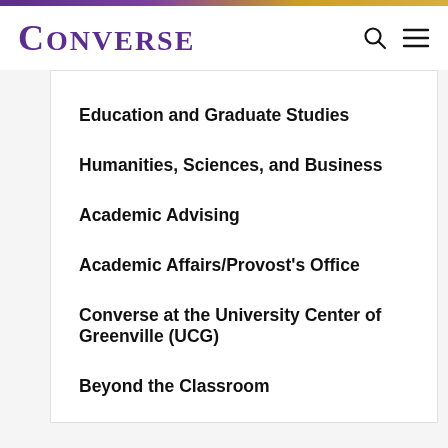CONVERSE
Education and Graduate Studies
Humanities, Sciences, and Business
Academic Advising
Academic Affairs/Provost's Office
Converse at the University Center of Greenville (UCG)
Beyond the Classroom